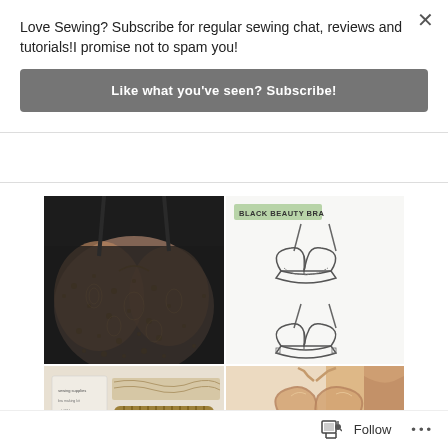Love Sewing? Subscribe for regular sewing chat, reviews and tutorials!I promise not to spam you!
Like what you've seen? Subscribe!
[Figure (photo): Collage of four images: top-left shows a black lace bra worn on a person, top-right shows technical sewing pattern illustrations of a bra labeled BLACK BEAUTY BRA, bottom-left shows sewing materials and tools, bottom-right shows a nude/tan colored bra close-up]
Follow ...